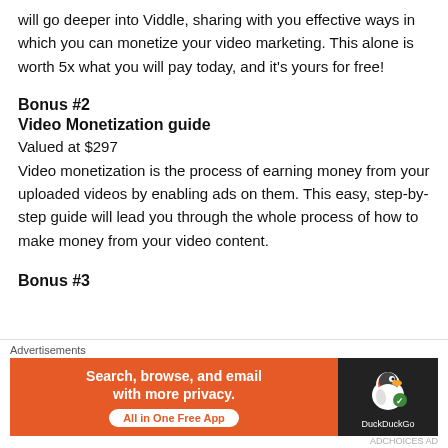will go deeper into Viddle, sharing with you effective ways in which you can monetize your video marketing. This alone is worth 5x what you will pay today, and it's yours for free!
Bonus #2
Video Monetization guide
Valued at $297
Video monetization is the process of earning money from your uploaded videos by enabling ads on them. This easy, step-by-step guide will lead you through the whole process of how to make money from your video content.
Bonus #3
[Figure (screenshot): DuckDuckGo advertisement banner: 'Search, browse, and email with more privacy. All in One Free App' on orange background with DuckDuckGo logo on dark background. Above banner reads 'Advertisements'.]